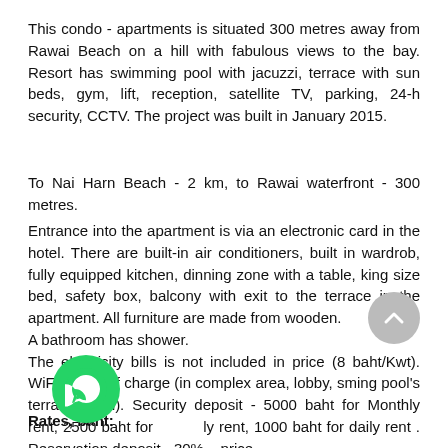This condo - apartments is situated 300 metres away from Rawai Beach on a hill with fabulous views to the bay. Resort has swimming pool with jacuzzi, terrace with sun beds, gym, lift, reception, satellite TV, parking, 24-h security, CCTV. The project was built in January 2015.
To Nai Harn Beach - 2 km, to Rawai waterfront - 300 metres.
Entrance into the apartment is via an electronic card in the hotel. There are built-in air conditioners, built in wardrob, fully equipped kitchen, dinning zone with a table, king size bed, safety box, balcony with exit to the terrace in the apartment. All furniture are made from wooden.
A bathroom has shower.
The electricity bills is not included in price (8 baht/Kwt). WiFi is free of charge (in complex area, lobby, sming pool's terrace, gym). Security deposit - 5000 baht for Monthly rent, 2500 baht for Weekly rent, 1000 baht for daily rent . Reservation deposit - 30% of price.
Rates, baht: